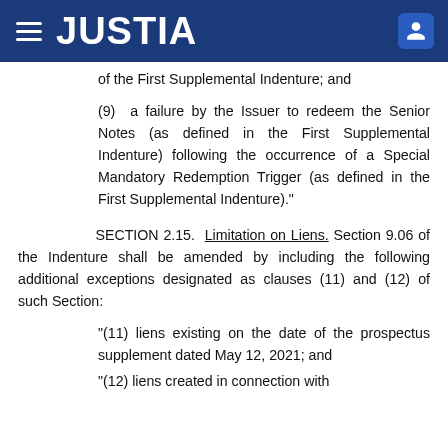JUSTIA
of the First Supplemental Indenture; and
(9) a failure by the Issuer to redeem the Senior Notes (as defined in the First Supplemental Indenture) following the occurrence of a Special Mandatory Redemption Trigger (as defined in the First Supplemental Indenture)."
SECTION 2.15. Limitation on Liens. Section 9.06 of the Indenture shall be amended by including the following additional exceptions designated as clauses (11) and (12) of such Section:
“(11) liens existing on the date of the prospectus supplement dated May 12, 2021; and
“(12) liens created in connection with...